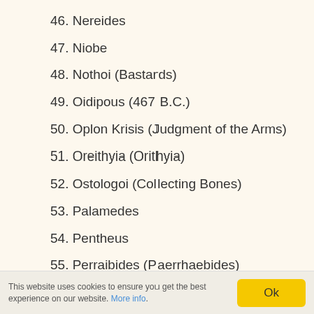46. Nereides
47. Niobe
48. Nothoi (Bastards)
49. Oidipous (467 B.C.)
50. Oplon Krisis (Judgment of the Arms)
51. Oreithyia (Orithyia)
52. Ostologoi (Collecting Bones)
53. Palamedes
54. Pentheus
55. Perraibides (Paerrhaebides)
56. Persai (Persians) (472 B.C.)
57. Penelope
58. Philoctetes (Philoctetes)
This website uses cookies to ensure you get the best experience on our website. More info.